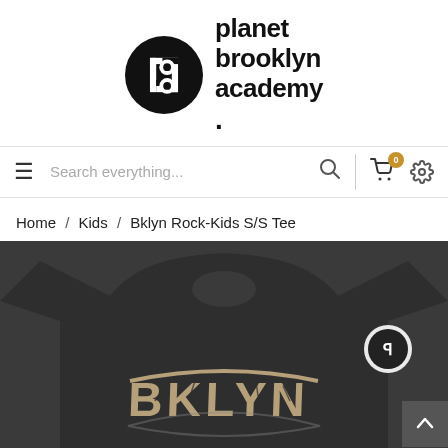[Figure (logo): Planet Brooklyn Academy logo: black circle with stylized 'pb' monogram, beside bold text reading 'planet brooklyn academy.']
[Figure (screenshot): Navigation bar with hamburger menu icon, search field reading 'Search everything...', search icon, vertical divider, shopping cart icon with orange badge showing '0', and gear/settings icon.]
Home / Kids / Bklyn Rock-Kids S/S Tee
[Figure (photo): Dark charcoal/black kids t-shirt with 'BKLYN' cracked stone lettering on the chest and a logo on the sleeve, partially cropped.]